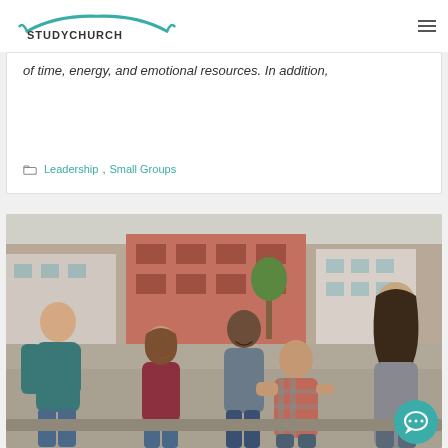STUDYCHURCH
of time, energy, and emotional resources. In addition,
Leadership, Small Groups
[Figure (photo): A group of five young adults sitting outdoors in an urban setting, engaged in conversation and laughing. They are seated on what appears to be a low wall or steps, with a brick building in the background.]